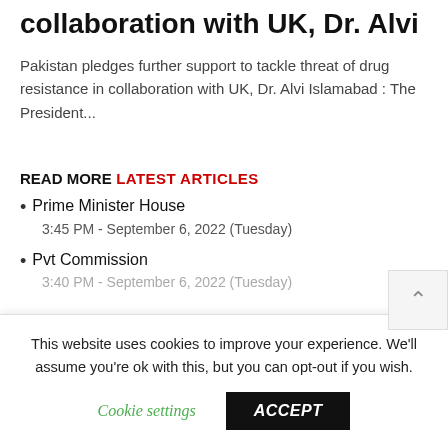collaboration with UK, Dr. Alvi
Pakistan pledges further support to tackle threat of drug resistance in collaboration with UK, Dr. Alvi Islamabad : The President...
READ MORE
LATEST ARTICLES
Prime Minister House
3:45 PM - September 6, 2022 (Tuesday)
Pvt Commission
3:40 PM - September 6, 2022 (Tuesday)